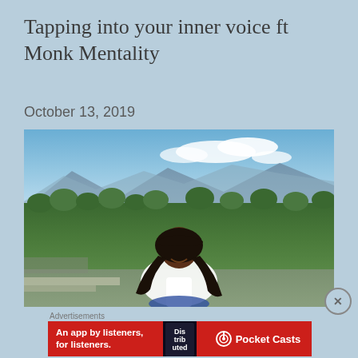Tapping into your inner voice ft Monk Mentality
October 13, 2019
[Figure (photo): A woman with long braided hair wearing a white top, smiling, sitting outdoors with a scenic landscape of green trees, fields, and mountains under a partly cloudy sky in the background.]
Advertisements
[Figure (other): Advertisement banner for Pocket Casts app. Red background with white bold text reading 'An app by listeners, for listeners.' alongside a phone showing the 'Distributed' app and the Pocket Casts logo on the right.]